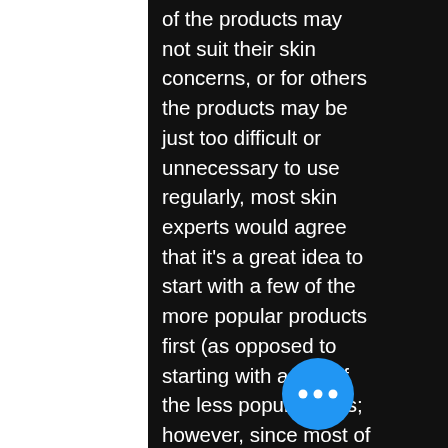of the products may not suit their skin concerns, or for others the products may be just too difficult or unnecessary to use regularly, most skin experts would agree that it's a great idea to start with a few of the more popular products first (as opposed to starting with a few of the less popular ones; however, since most of the products below are more difficult to use than the ones you may already have purchased, it's a good idea to make a couple of extra to give you an opportunity to use them before they're no longer in production):
Dermabrasion
While most dry skin problems are caused by genetics, and by a combination of stressors and environmental factors, some comm acne-related problems are related to environmental factors. For example, the
[Figure (other): Blue circular button with three white dots (ellipsis/more options button)]